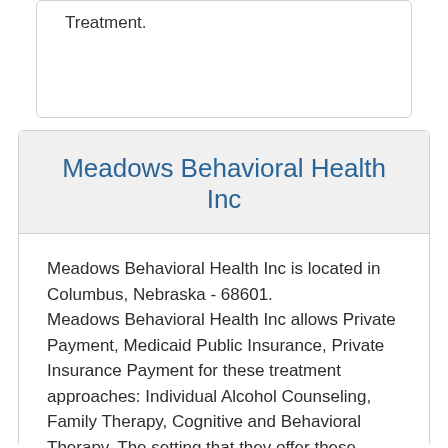Treatment.
Meadows Behavioral Health Inc
Meadows Behavioral Health Inc is located in Columbus, Nebraska - 68601.
Meadows Behavioral Health Inc allows Private Payment, Medicaid Public Insurance, Private Insurance Payment for these treatment approaches: Individual Alcohol Counseling, Family Therapy, Cognitive and Behavioral Therapy. The setting that they offer these services in are: Outpatient Addiction Treatment.